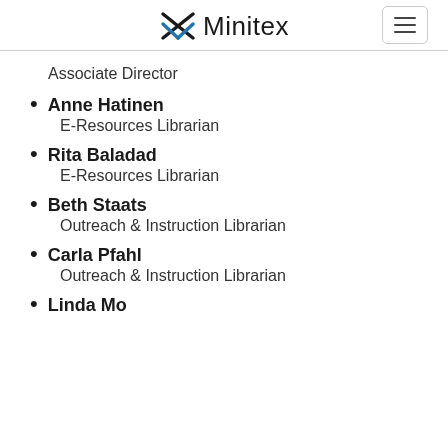Minitex
Associate Director
Anne Hatinen
E-Resources Librarian
Rita Baladad
E-Resources Librarian
Beth Staats
Outreach & Instruction Librarian
Carla Pfahl
Outreach & Instruction Librarian
Linda Mo...